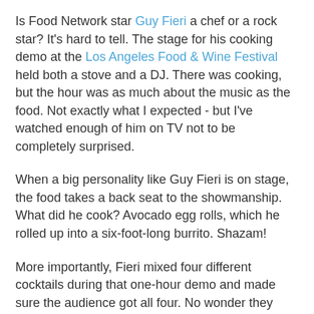Is Food Network star Guy Fieri a chef or a rock star? It's hard to tell. The stage for his cooking demo at the Los Angeles Food & Wine Festival held both a stove and a DJ. There was cooking, but the hour was as much about the music as the food. Not exactly what I expected - but I've watched enough of him on TV not to be completely surprised.
When a big personality like Guy Fieri is on stage, the food takes a back seat to the showmanship. What did he cook? Avocado egg rolls, which he rolled up into a six-foot-long burrito. Shazam!
More importantly, Fieri mixed four different cocktails during that one-hour demo and made sure the audience got all four. No wonder they hooted and hollered, right? And there were no delicate cocktail shakers. He mixed his mojitos in an industrial-sized bucket and muddled the limes, sugar and mint with a baseball bat. Kapow!
Here, see for yourself - I snapped some video during the mixing of the first cocktail. Cooking demo or rock concert?